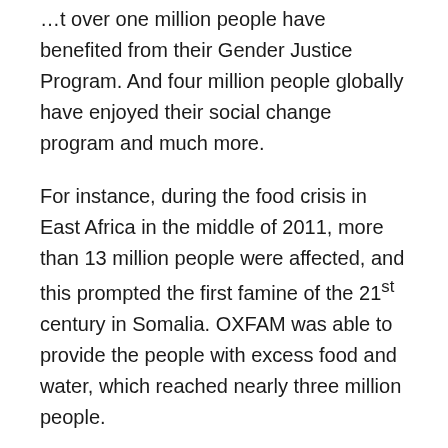…t over one million people have benefited from their Gender Justice Program. And four million people globally have enjoyed their social change program and much more.
For instance, during the food crisis in East Africa in the middle of 2011, more than 13 million people were affected, and this prompted the first famine of the 21st century in Somalia. OXFAM was able to provide the people with excess food and water, which reached nearly three million people.
Another instance is when the Corona Virus was first declared a global pandemic, and the company was able to provide immediate humanitarian assistance. Advocating for a fair recovery through its work, to